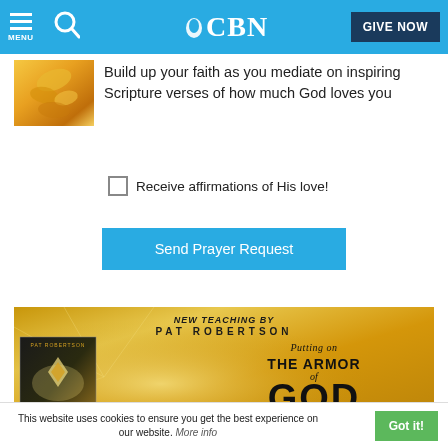CBN - MENU - GIVE NOW
[Figure (illustration): Small thumbnail image with autumn/golden tones, likely leaves or floral motif]
Build up your faith as you mediate on inspiring Scripture verses of how much God loves you
Receive affirmations of His love!
Send Prayer Request
[Figure (illustration): Advertisement banner: NEW TEACHING BY PAT ROBERTSON - Putting on THE ARMOR of GOD - EPHESIANS: STANDING FIRM IN GOD'S]
This website uses cookies to ensure you get the best experience on our website. More info
Got it!